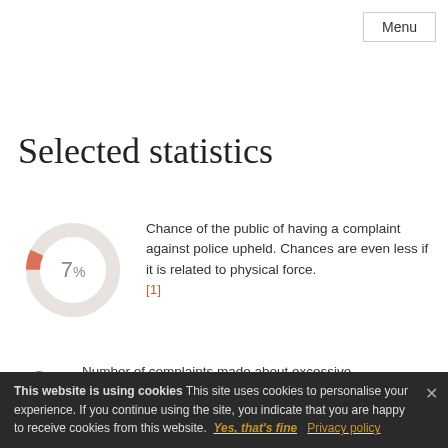Menu
Selected statistics
[Figure (donut-chart): Donut chart showing 7% in salmon/red color segment at top, rest in light grey]
Chance of the public of having a complaint against police upheld. Chances are even less if it is related to physical force. [1]
0  Number of complaints made about excessive physical force which were upheld between 2007 and 2010. [1]
This website is using cookies This site uses cookies to personalise your experience. If you continue using the site, you indicate that you are happy to receive cookies from this website. Yes, that's fine  Privacy policy